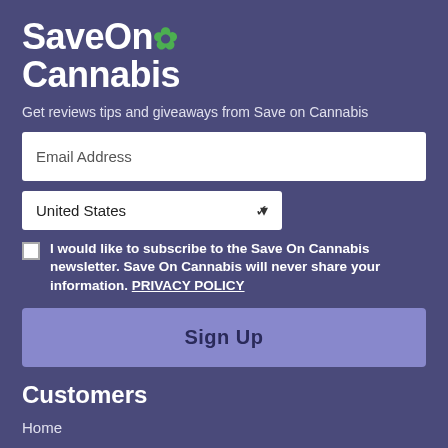SaveOn Cannabis
Get reviews tips and giveaways from Save on Cannabis
Email Address
United States
I would like to subscribe to the Save On Cannabis newsletter. Save On Cannabis will never share your information. PRIVACY POLICY
Sign Up
Customers
Home
CBD Coupons